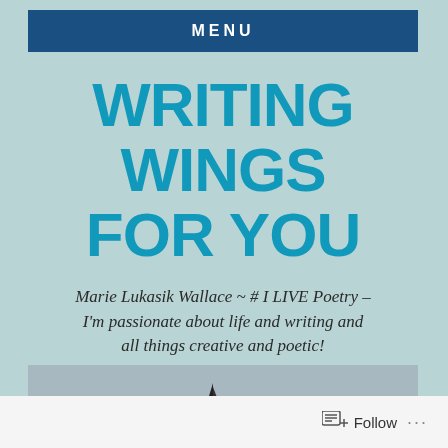MENU
WRITING WINGS FOR YOU
Marie Lukasik Wallace ~ # I LIVE Poetry – I'm passionate about life and writing and all things creative and poetic!
[Figure (photo): Black and white photograph of multiple sailboats on water with a bridge in the background]
Follow ...